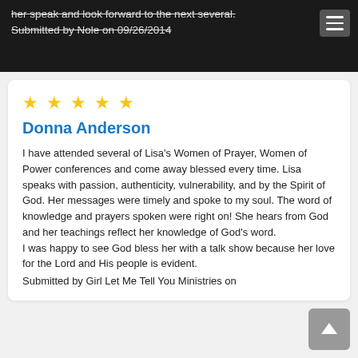her speak and look forward to the next several.
Submitted by Nole on 09/26/2014
Donna Anderson
I have attended several of Lisa's Women of Prayer, Women of Power conferences and come away blessed every time. Lisa speaks with passion, authenticity, vulnerability, and by the Spirit of God. Her messages were timely and spoke to my soul. The word of knowledge and prayers spoken were right on! She hears from God and her teachings reflect her knowledge of God's word.
I was happy to see God bless her with a talk show because her love for the Lord and His people is evident.
Submitted by Girl Let Me Tell You Ministries on